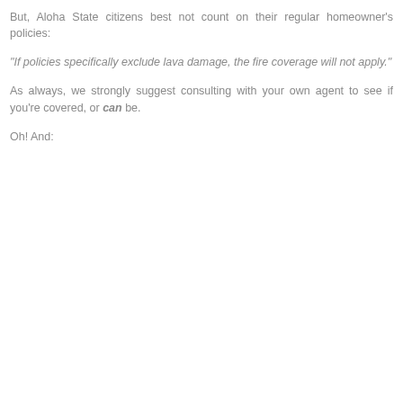But, Aloha State citizens best not count on their regular homeowner's policies:
"If policies specifically exclude lava damage, the fire coverage will not apply."
As always, we strongly suggest consulting with your own agent to see if you're covered, or can be.
Oh! And: